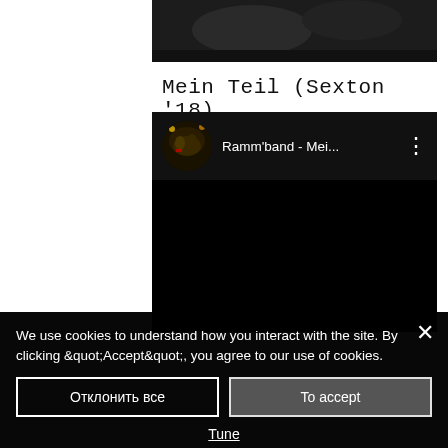[Figure (screenshot): Top portion of a dark thumbnail/video strip at the top of the page]
Mein Teil (Sexton '18)
[Figure (screenshot): YouTube-style embedded video player showing 'Ramm'band - Mei...' with a circular thumbnail of a band performing, dots menu button, and a black video body area]
We use cookies to understand how you interact with the site. By clicking &quot;Accept&quot;, you agree to our use of cookies.
Отклонить все
To accept
Tune